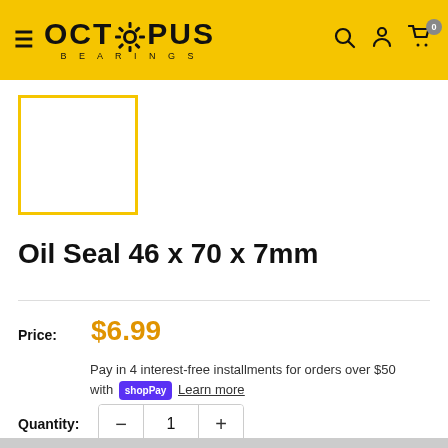Octopus Bearings
[Figure (photo): Product thumbnail placeholder — white square with yellow border]
Oil Seal 46 x 70 x 7mm
Price: $6.99
Pay in 4 interest-free installments for orders over $50 with Shop Pay Learn more
Quantity: 1